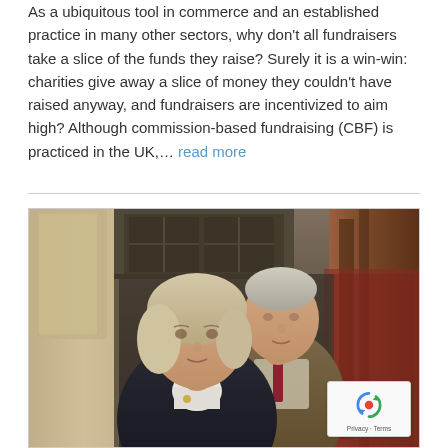As a ubiquitous tool in commerce and an established practice in many other sectors, why don't all fundraisers take a slice of the funds they raise? Surely it is a win-win: charities give away a slice of money they couldn't have raised anyway, and fundraisers are incentivized to aim high? Although commission-based fundraising (CBF) is practiced in the UK,… read more
[Figure (photo): Two people, a woman with blonde hair wearing a dark jacket and a man in a brown tweed jacket with a red tie, photographed indoors in what appears to be a church or historic stone building with wooden furnishings.]